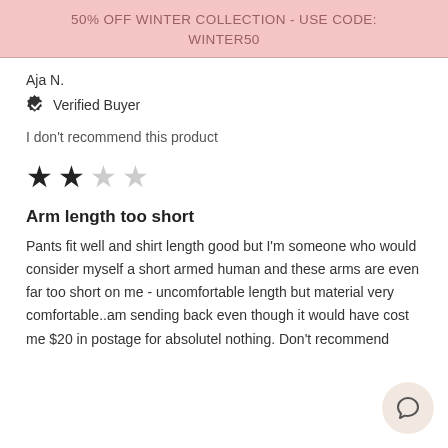50% OFF WINTER COLLECTION - USE CODE: WINTER50
Aja N.
Verified Buyer
I don't recommend this product
[Figure (other): 2-star rating out of 5 stars]
Arm length too short
Pants fit well and shirt length good but I'm someone who would consider myself a short armed human and these arms are even far too short on me - uncomfortable length but material very comfortable..am sending back even though it would have cost me $20 in postage for absolutel nothing. Don't recommend